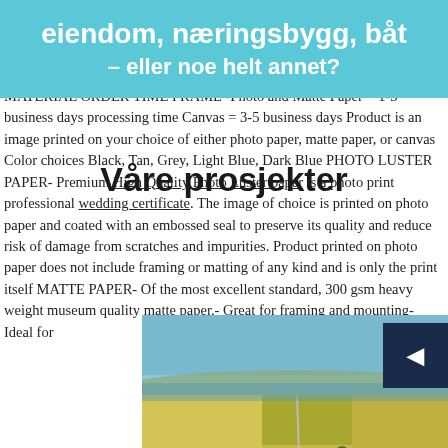SIZE & vintage art in a frame, iphone case, digitals, stock Park Baseball standard, account Paper, Matte Paper or Stretched Canvas Print is available in Premium Photo Luster Paper, Heavy Matte Paper, or Stretched Canvas! Link to my other artwork FREE SHIPPING ANY SIZE & ANY MATERIAL ORDER TIME FRAME -Photo and Matte Paper = 1-3 business days processing time Canvas = 3-5 business days Product is an image printed on your choice of either photo paper, matte paper, or canvas Color choices Black, Tan, Grey, Light Blue, Dark Blue PHOTO LUSTER PAPER- Premium High Quality Photo Luster paper is a photo print professional wedding certificate. The image of choice is printed on photo paper and coated with an embossed seal to preserve its quality and reduce risk of damage from scratches and impurities. Product printed on photo paper does not include framing or matting of any kind and is only the print itself MATTE PAPER- Of the most excellent standard, 300 gsm heavy weight museum quality matte paper.- Great for framing and mounting- Ideal for
eiendom, næringsbygg, båt – eller noe helt annet?
Våre prosjekter
[Figure (photo): Aerial photograph of a Norwegian village/town showing houses, farmland, fields, and a fjord or lake in the background under blue skies.]
◀